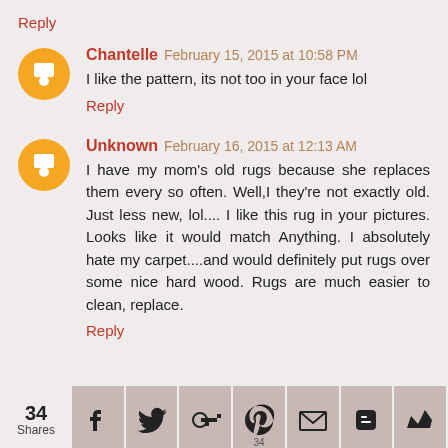Reply
Chantelle  February 15, 2015 at 10:58 PM
I like the pattern, its not too in your face lol
Reply
Unknown  February 16, 2015 at 12:13 AM
I have my mom's old rugs because she replaces them every so often. Well,I they're not exactly old. Just less new, lol.... I like this rug in your pictures. Looks like it would match Anything. I absolutely hate my carpet....and would definitely put rugs over some nice hard wood. Rugs are much easier to clean, replace.
Reply
[Figure (infographic): Social share bar with 34 shares count and icons for Facebook, Twitter, Google+, Pinterest (34), email, Blogger, and another platform]